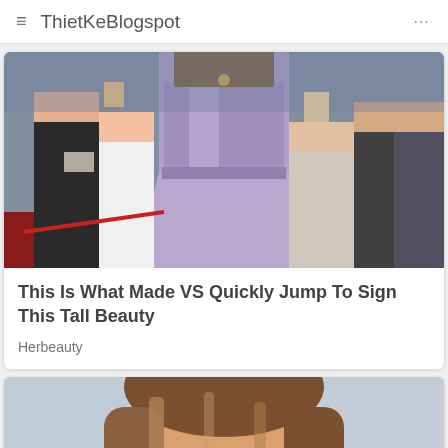ThietKeBlogspot
[Figure (photo): Woman in a purple/lavender strapless dress at a red carpet event, surrounded by people]
This Is What Made VS Quickly Jump To Sign This Tall Beauty
Herbeauty
[Figure (photo): Close-up portrait of a woman with long brown highlighted hair]